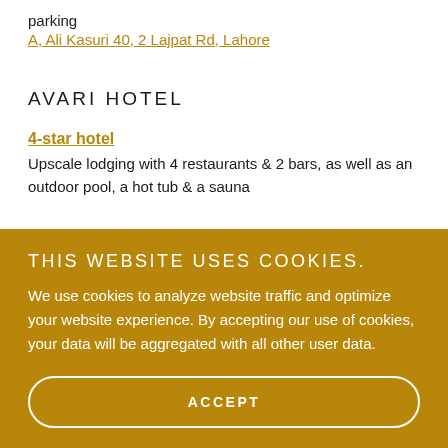parking
A, Ali Kasuri 40, 2 Lajpat Rd, Lahore
AVARI HOTEL
4-star hotel
Upscale lodging with 4 restaurants & 2 bars, as well as an outdoor pool, a hot tub & a sauna
THIS WEBSITE USES COOKIES.
We use cookies to analyze website traffic and optimize your website experience. By accepting our use of cookies, your data will be aggregated with all other user data.
ACCEPT